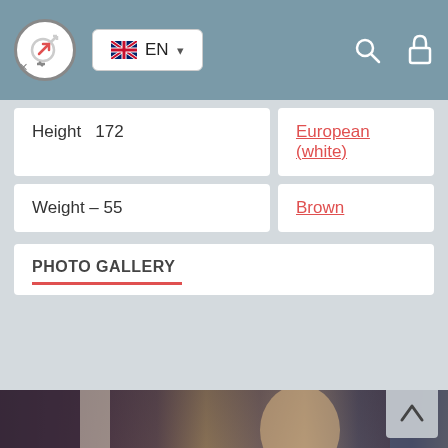EN — Language selector, search icon, lock icon
Height  172
European (white)
Weight – 55
Brown
PHOTO GALLERY
[Figure (photo): A woman with short blonde hair sitting in a room, looking downward, wearing a dark sleeveless outfit, with curtains and a bed visible in the background.]